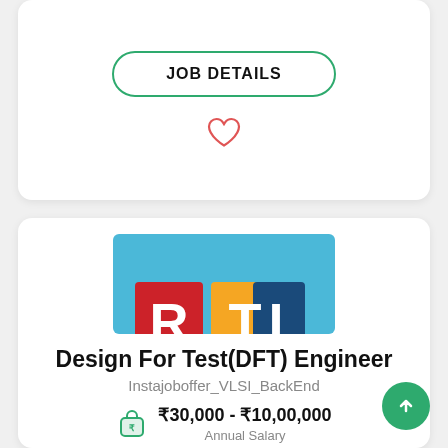JOB DETAILS
[Figure (illustration): Heart/favorite icon outline in red/pink]
[Figure (logo): RTL Design logo on blue background with colored letter blocks R (red), T (yellow), L (dark blue) and 'Design' text below]
Design For Test(DFT) Engineer
Instajoboffer_VLSI_BackEnd
₹30,000 - ₹10,00,000 Annual Salary
Bengaluru, Karnataka, India